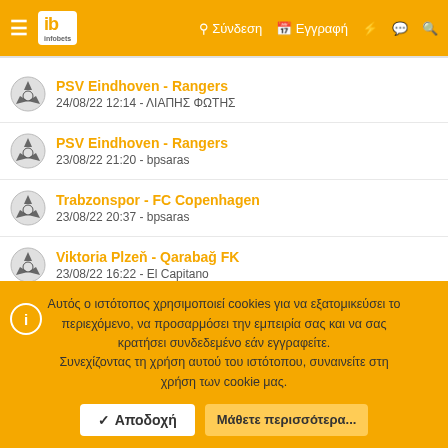infobets - Σύνδεση - Εγγραφή
PSV Eindhoven - Rangers
24/08/22 12:14 - ΛΙΑΠΗΣ ΦΩΤΗΣ
PSV Eindhoven - Rangers
23/08/22 21:20 - bpsaras
Trabzonspor - FC Copenhagen
23/08/22 20:37 - bpsaras
Viktoria Plzeň - Qarabağ FK
23/08/22 16:22 - El Capitano
Αυτός ο ιστότοπος χρησιμοποιεί cookies για να εξατομικεύσει το περιεχόμενο, να προσαρμόσει την εμπειρία σας και να σας κρατήσει συνδεδεμένο εάν εγγραφείτε.
Συνεχίζοντας τη χρήση αυτού του ιστότοπου, συναινείτε στη χρήση των cookie μας.
Αποδοχή   Μάθετε περισσότερα...